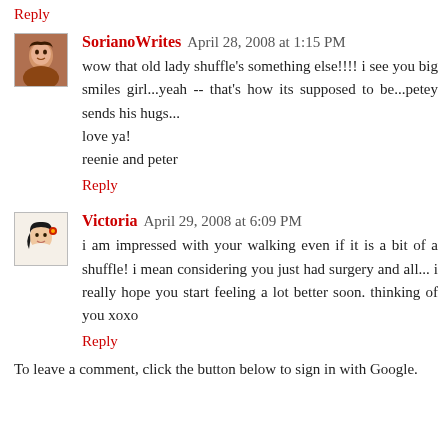Reply
SorianoWrites  April 28, 2008 at 1:15 PM
wow that old lady shuffle's something else!!!! i see you big smiles girl...yeah -- that's how its supposed to be...petey sends his hugs...
love ya!
reenie and peter
Reply
Victoria  April 29, 2008 at 6:09 PM
i am impressed with your walking even if it is a bit of a shuffle! i mean considering you just had surgery and all... i really hope you start feeling a lot better soon. thinking of you xoxo
Reply
To leave a comment, click the button below to sign in with Google.